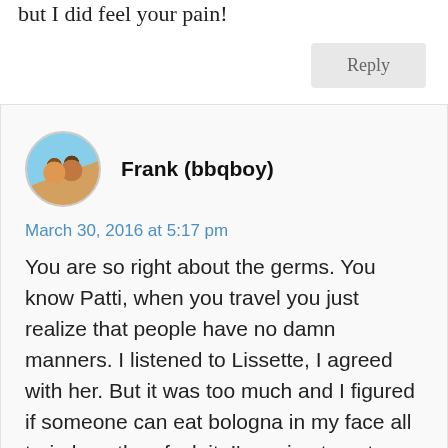but I did feel your pain!
Reply
Frank (bbqboy)
March 30, 2016 at 5:17 pm
You are so right about the germs. You know Patti, when you travel you just realize that people have no damn manners. I listened to Lissette, I agreed with her. But it was too much and I figured if someone can eat bologna in my face all train long then fuck it, I'm going to eat my hard boiled eggs. Common courtesy? Doesn't exist anymore.
I think we all experience this one time or